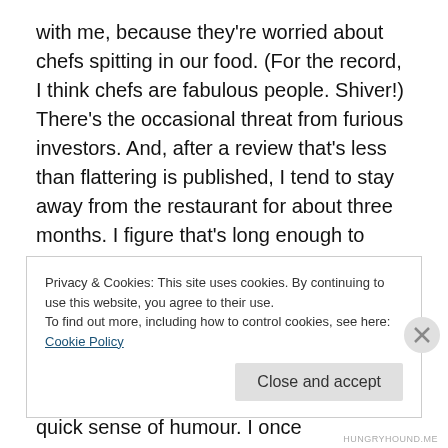with me, because they're worried about chefs spitting in our food. (For the record, I think chefs are fabulous people. Shiver!) There's the occasional threat from furious investors. And, after a review that's less than flattering is published, I tend to stay away from the restaurant for about three months. I figure that's long enough to ensure I don't get a steak knife artfully positioned between my ribs. (It would just ruin my lovely Miu Miu evening wear.)
Actually chefs are astonishingly open to criticism. Many even have a reassuringly quick sense of humour. I once
Privacy & Cookies: This site uses cookies. By continuing to use this website, you agree to their use.
To find out more, including how to control cookies, see here: Cookie Policy
Close and accept
HUNGRYHOUND.ME